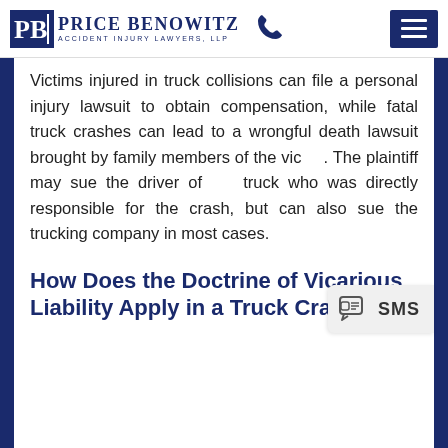Price Benowitz Accident Injury Lawyers, LLP
Victims injured in truck collisions can file a personal injury lawsuit to obtain compensation, while fatal truck crashes can lead to a wrongful death lawsuit brought by family members of the vic[tim]. The plaintiff may sue the driver of [the] truck who was directly responsible for the crash, but can also sue the trucking company in most cases.
How Does the Doctrine of Vicarious Liability Apply in a Truck Crash